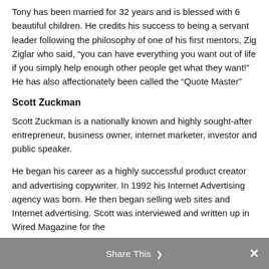Tony has been married for 32 years and is blessed with 6 beautiful children. He credits his success to being a servant leader following the philosophy of one of his first mentors, Zig Ziglar who said, “you can have everything you want out of life if you simply help enough other people get what they want!” He has also affectionately been called the “Quote Master”
Scott Zuckman
Scott Zuckman is a nationally known and highly sought-after entrepreneur, business owner, internet marketer, investor and public speaker.
He began his career as a highly successful product creator and advertising copywriter. In 1992 his Internet Advertising agency was born. He then began selling web sites and Internet advertising. Scott was interviewed and written up in Wired Magazine for the
Share This